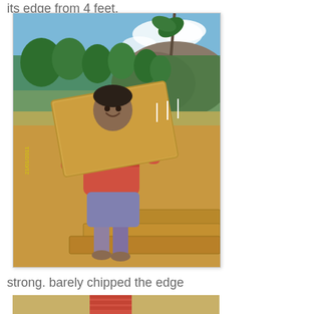its edge from 4 feet.
[Figure (photo): A man standing outdoors on dry reddish-brown earth, smiling and holding a large flat laterite stone block. He is wearing a red striped polo shirt and purple/grey shorts, barefoot. Behind him are green trees, rocky hills, and a clear blue sky. A date stamp reads 21/01/2011 on the lower left. At his feet are more cut laterite stone slabs on the ground.]
strong. barely chipped the edge
[Figure (photo): Partial view of another outdoor photo showing a person in a red shirt, cropped at the bottom of the page.]